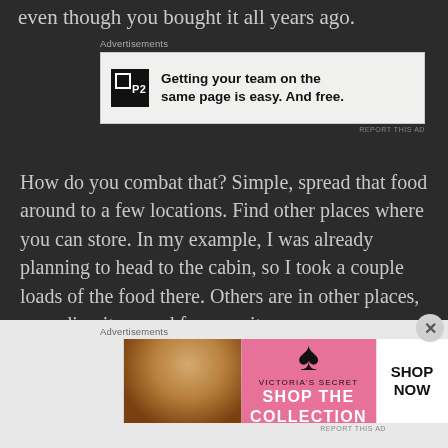even though you bought it all years ago.
[Figure (screenshot): Advertisement banner for P2 product: 'Getting your team on the same page is easy. And free.']
How do you combat that? Simple, spread that food around to a few locations. Find other places where you can store. In my example, I was already planning to head to the cabin, so I took a couple loads of the food there. Others are in other places, spreading it around for security.
Give portion to seven, yes to eight.
[Figure (screenshot): Victoria's Secret advertisement banner: 'SHOP THE COLLECTION' with 'SHOP NOW' button]